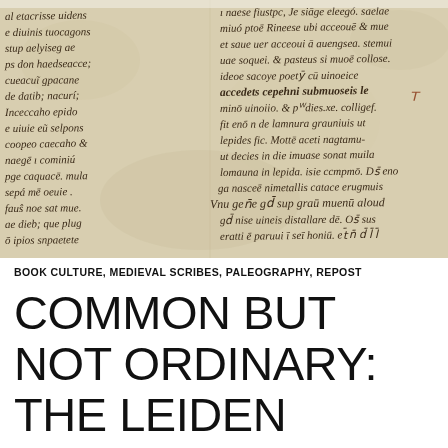[Figure (photo): Close-up photograph of a medieval manuscript page showing handwritten Latin text in brown ink on parchment, with two columns of medieval script visible]
BOOK CULTURE, MEDIEVAL SCRIBES, PALEOGRAPHY, REPOST
COMMON BUT NOT ORDINARY: THE LEIDEN DIOSCORIDES EXAMINED